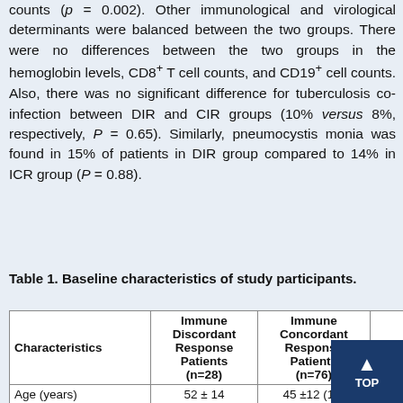counts (p = 0.002). Other immunological and virological determinants were balanced between the two groups. There were no differences between the two groups in the hemoglobin levels, CD8+ T cell counts, and CD19+ cell counts. Also, there was no significant difference for tuberculosis co-infection between DIR and CIR groups (10% versus 8%, respectively, P = 0.65). Similarly, pneumocystis monia was found in 15% of patients in DIR group compared to 14% in ICR group (P = 0.88).
Table 1. Baseline characteristics of study participants.
| Characteristics | Immune Discordant Response Patients (n=28) | Immune Concordant Response Patients (n=76) | va |
| --- | --- | --- | --- |
| Age (years)
Mean (SD)
Median (IQR) | 52 ± 14
(30-80)
49 (40-59) | 45 ±12 (18-71)
44 (36-52) | 0 |
| Male [n (%)] | 17 (60) | 42 (55) | 0 |